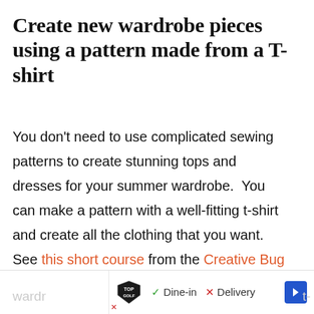Create new wardrobe pieces using a pattern made from a T-shirt
You don't need to use complicated sewing patterns to create stunning tops and dresses for your summer wardrobe. You can make a pattern with a well-fitting t-shirt and create all the clothing that you want. See this short course from the Creative Bug and find out how to create your own custom wardrobe... at-
[Figure (other): Advertisement banner overlay at the bottom showing Topgolf logo with Dine-in and Delivery options and a blue navigation arrow]